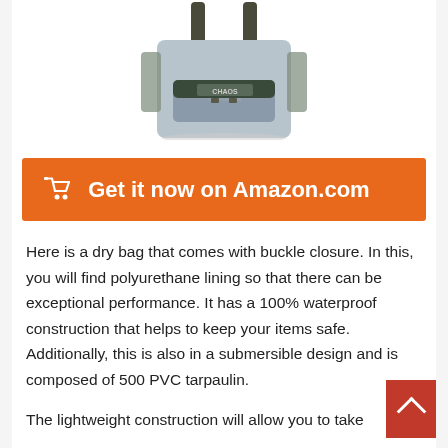[Figure (photo): Product photo of a gray waterproof dry bag with CHAOS branding, showing shoulder straps and a front buckle pocket]
🛒  Get it now on Amazon.com
Here is a dry bag that comes with buckle closure. In this, you will find polyurethane lining so that there can be exceptional performance. It has a 100% waterproof construction that helps to keep your items safe. Additionally, this is also in a submersible design and is composed of 500 PVC tarpaulin.
The lightweight construction will allow you to take